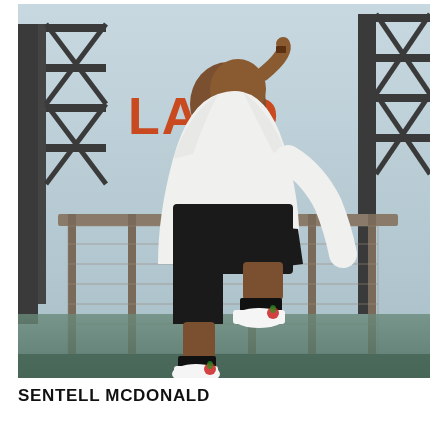[Figure (photo): A young man wearing a white oversized hoodie, black shorts, black socks, and white high-top sneakers with red rose embroidery. He is sitting on a metal railing of a bridge or walkway, with an industrial steel structure and the word 'LAND' visible in the background. There is water visible below. The photo is a portrait/fashion-style outdoor shot.]
SENTELL MCDONALD